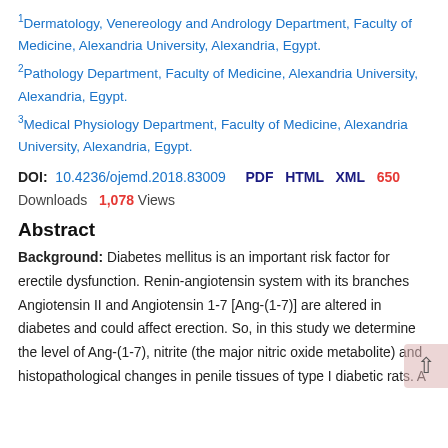1Dermatology, Venereology and Andrology Department, Faculty of Medicine, Alexandria University, Alexandria, Egypt.
2Pathology Department, Faculty of Medicine, Alexandria University, Alexandria, Egypt.
3Medical Physiology Department, Faculty of Medicine, Alexandria University, Alexandria, Egypt.
DOI: 10.4236/ojemd.2018.83009  PDF  HTML  XML  650 Downloads  1,078 Views
Abstract
Background: Diabetes mellitus is an important risk factor for erectile dysfunction. Renin-angiotensin system with its branches Angiotensin II and Angiotensin 1-7 [Ang-(1-7)] are altered in diabetes and could affect erection. So, in this study we determine the level of Ang-(1-7), nitrite (the major nitric oxide metabolite) and histopathological changes in penile tissues of type I diabetic rats. A